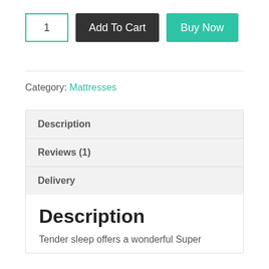1 | Add To Cart | Buy Now
Category: Mattresses
Description
Reviews (1)
Delivery
Description
Tender sleep offers a wonderful Super